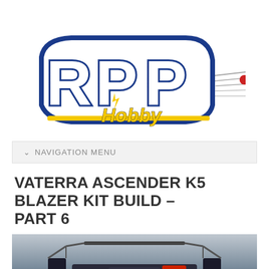[Figure (logo): RPP Hobby logo — large stylized letters R P P in blue outline with white fill, yellow 'Hobby' text below, speed lines extending to the right with a red element at the tip]
NAVIGATION MENU
VATERRA ASCENDER K5 BLAZER KIT BUILD – PART 6
[Figure (photo): Vaterra Ascender K5 Blazer RC car build photo showing the chassis from above/front angle with red and black components visible]